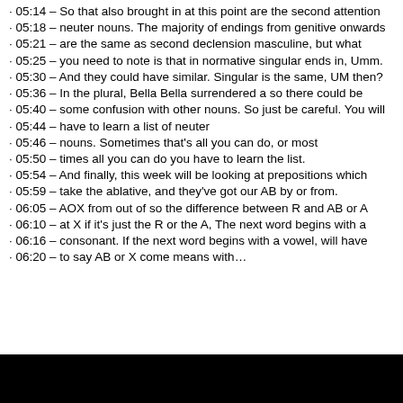· 05:14 – So that also brought in at this point are the second attention
· 05:18 – neuter nouns. The majority of endings from genitive onwards
· 05:21 – are the same as second declension masculine, but what
· 05:25 – you need to note is that in normative singular ends in, Umm.
· 05:30 – And they could have similar. Singular is the same, UM then?
· 05:36 – In the plural, Bella Bella surrendered a so there could be
· 05:40 – some confusion with other nouns. So just be careful. You will
· 05:44 – have to learn a list of neuter
· 05:46 – nouns. Sometimes that's all you can do, or most
· 05:50 – times all you can do you have to learn the list.
· 05:54 – And finally, this week will be looking at prepositions which
· 05:59 – take the ablative, and they've got our AB by or from.
· 06:05 – AOX from out of so the difference between R and AB or A
· 06:10 – at X if it's just the R or the A, The next word begins with a
· 06:16 – consonant. If the next word begins with a vowel, will have
· 06:20 – to say AB or X come means with…
[Figure (screenshot): Black rectangle at the bottom of the page, likely a video player or image thumbnail]